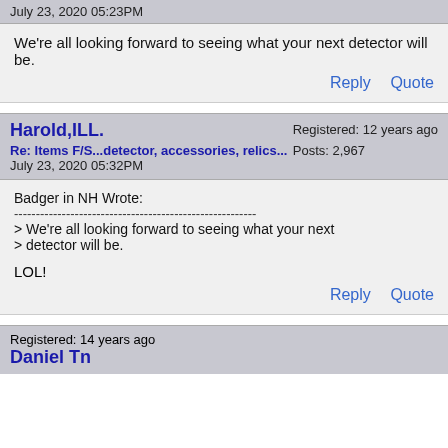July 23, 2020 05:23PM
We're all looking forward to seeing what your next detector will be.
Reply   Quote
Harold,ILL.
Re: Items F/S...detector, accessories, relics...
July 23, 2020 05:32PM
Registered: 12 years ago
Posts: 2,967
Badger in NH Wrote:
--------------------------------------------------------
> We're all looking forward to seeing what your next
> detector will be.


LOL!
Reply   Quote
Daniel Tn
Registered: 14 years ago